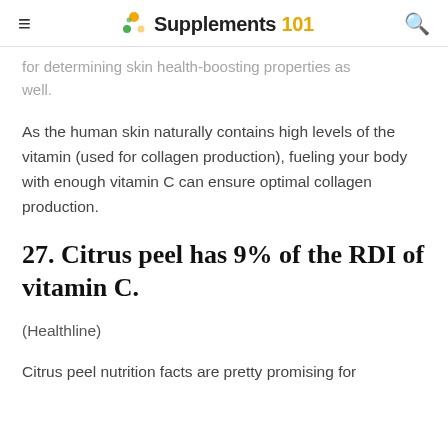Supplements 101
for determining skin health-boosting properties as well.
As the human skin naturally contains high levels of the vitamin (used for collagen production), fueling your body with enough vitamin C can ensure optimal collagen production.
27. Citrus peel has 9% of the RDI of vitamin C.
(Healthline)
Citrus peel nutrition facts are pretty promising for